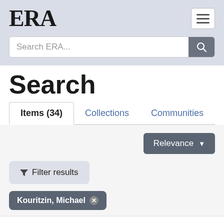[Figure (logo): ERA logo in bold serif font]
Search ERA...
Search
Items (34)    Collections    Communities
Relevance ▼
▼ Filter results
Kouritzin, Michael ✕